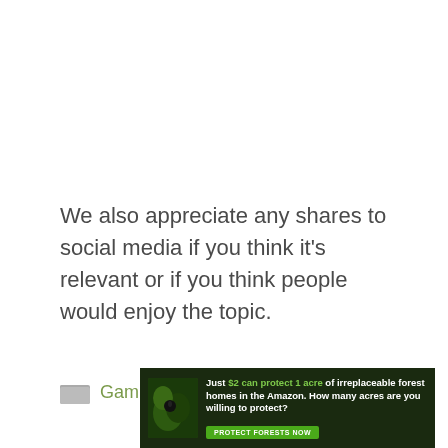We also appreciate any shares to social media if you think it's relevant or if you think people would enjoy the topic.
Gaming
[Figure (infographic): Advertisement banner with dark forest background. Text reads: 'Just $2 can protect 1 acre of irreplaceable forest homes in the Amazon. How many acres are you willing to protect?' with a green 'PROTECT FORESTS NOW' button.]